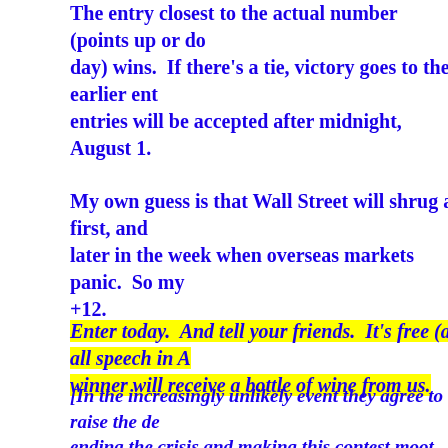The entry closest to the actual number (points up or down on the day) wins.  If there's a tie, victory goes to the earlier entry.  No entries will be accepted after midnight, August 1.
My own guess is that Wall Street will shrug at first, and then panic later in the week when overseas markets panic.  So my guess is +12.
Enter today.  And tell your friends.  It's free (as all speech in A... winner will receive a bottle of wine from us.
[In the increasingly unlikely event they agree to raise the de... ending the crisis and making this contest moot, we'll give a t... thing off.]